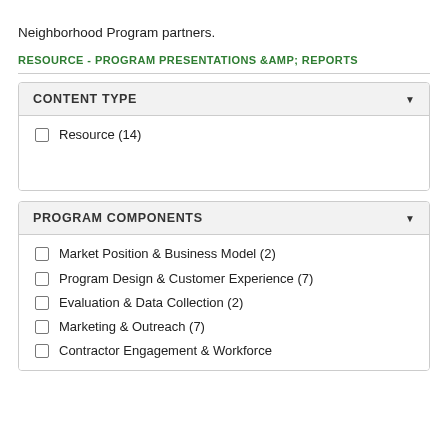Neighborhood Program partners.
RESOURCE - PROGRAM PRESENTATIONS &AMP; REPORTS
Resource (14)
Market Position & Business Model (2)
Program Design & Customer Experience (7)
Evaluation & Data Collection (2)
Marketing & Outreach (7)
Contractor Engagement & Workforce